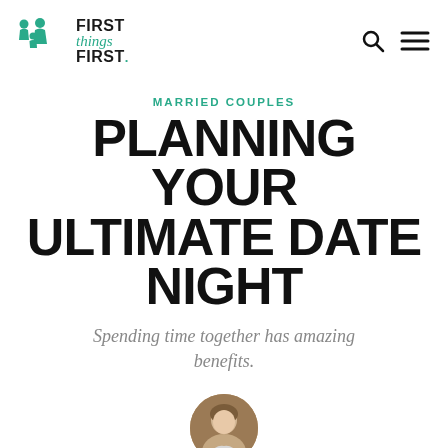[Figure (logo): First Things First logo with teal family icon figures and bold uppercase text with italic 'things' in teal]
MARRIED COUPLES
PLANNING YOUR ULTIMATE DATE NIGHT
Spending time together has amazing benefits.
[Figure (photo): Circular author headshot photo of Julie Baumgardner]
By Julie Baumgardner
September 10, 2017